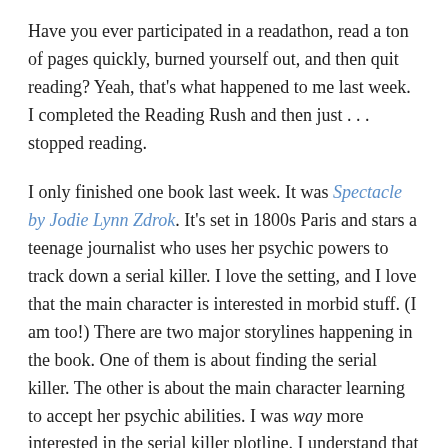Have you ever participated in a readathon, read a ton of pages quickly, burned yourself out, and then quit reading? Yeah, that's what happened to me last week. I completed the Reading Rush and then just . . . stopped reading.
I only finished one book last week. It was Spectacle by Jodie Lynn Zdrok. It's set in 1800s Paris and stars a teenage journalist who uses her psychic powers to track down a serial killer. I love the setting, and I love that the main character is interested in morbid stuff. (I am too!) There are two major storylines happening in the book. One of them is about finding the serial killer. The other is about the main character learning to accept her psychic abilities. I was way more interested in the serial killer plotline. I understand that learning to be psychic is (probably) difficult, but I was impatient for the character to embrace her powers and concentrate on the killer. Overall, I had fun reading Spectacle. I'll probably pick up the sequel if I come across it in my bookish wanderings.